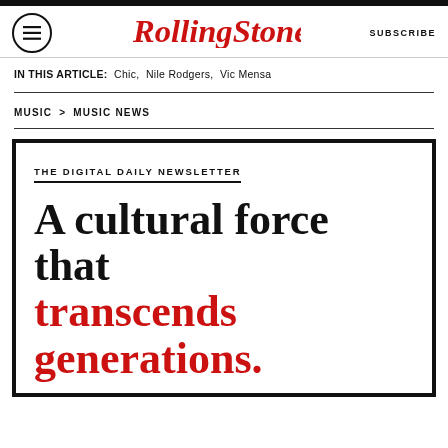RollingStone | SUBSCRIBE
IN THIS ARTICLE: Chic, Nile Rodgers, Vic Mensa
MUSIC > MUSIC NEWS
[Figure (infographic): Rolling Stone Digital Daily Newsletter promotional box with headline: 'A cultural force that transcends generations.' The words 'A cultural force that' are in black serif bold, and 'transcends generations.' are in red serif bold. Above is a label 'THE DIGITAL DAILY NEWSLETTER' with an underline.]